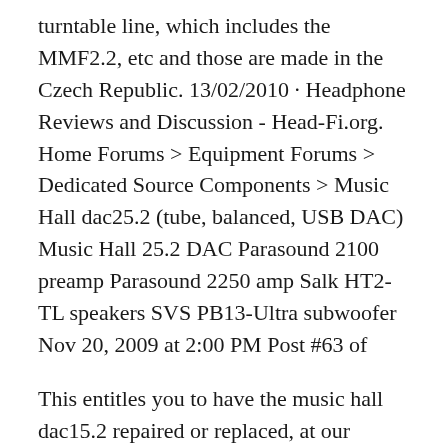turntable line, which includes the MMF2.2, etc and those are made in the Czech Republic. 13/02/2010 · Headphone Reviews and Discussion - Head-Fi.org. Home Forums > Equipment Forums > Dedicated Source Components > Music Hall dac25.2 (tube, balanced, USB DAC) Music Hall 25.2 DAC Parasound 2100 preamp Parasound 2250 amp Salk HT2-TL speakers SVS PB13-Ultra subwoofer Nov 20, 2009 at 2:00 PM Post #63 of
This entitles you to have the music hall dac15.2 repaired or replaced, at our discretion, free of charge for one year after purchase, at any authorized music hall dealer, provided the unit was purchased from an authorized dealer. Your